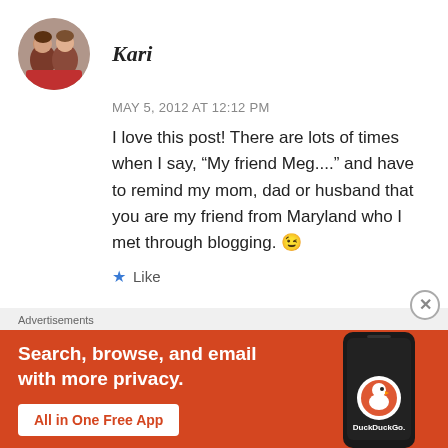Kari
MAY 5, 2012 AT 12:12 PM
I love this post! There are lots of times when I say, “My friend Meg....” and have to remind my mom, dad or husband that you are my friend from Maryland who I met through blogging. 😉
Like
Advertisements
[Figure (infographic): DuckDuckGo advertisement banner with orange background. Left side text: 'Search, browse, and email with more privacy. All in One Free App'. Right side shows a dark smartphone with DuckDuckGo logo and branding.]